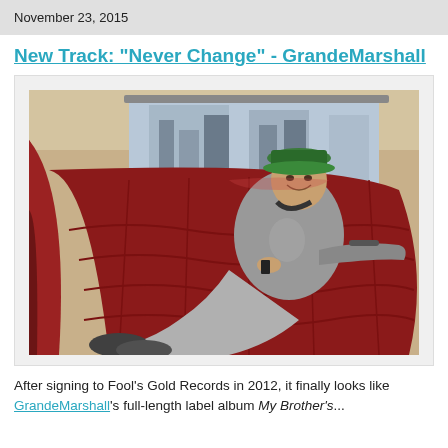November 23, 2015
New Track: "Never Change" - GrandeMarshall
[Figure (photo): A young man in a green cap, grey hoodie and grey sweatpants with boots, sitting sideways in the red leather back seat of a vintage car, looking at the camera. The car interior shows red vinyl bench seating. City buildings are visible through the car window.]
After signing to Fool's Gold Records in 2012, it finally looks like GrandeMarshall's full-length label album My Brother's...